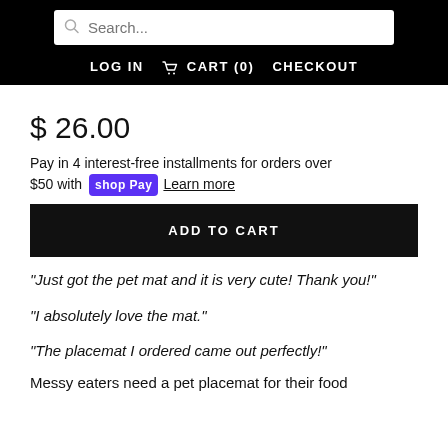Search... LOG IN CART (0) CHECKOUT
$ 26.00
Pay in 4 interest-free installments for orders over $50 with shop Pay Learn more
ADD TO CART
“Just got the pet mat and it is very cute! Thank you!”
“I absolutely love the mat.”
“The placemat I ordered came out perfectly!”
Messy eaters need a pet placemat for their food